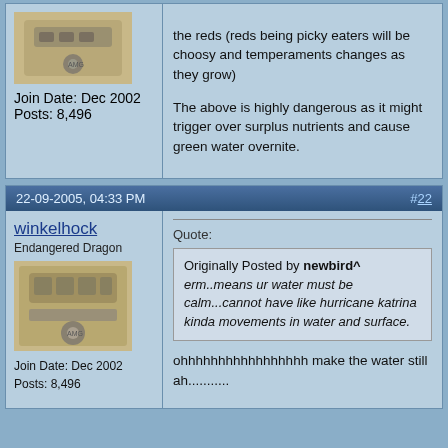[Figure (photo): Mercedes engine photo - sepia/color tinted]
Join Date: Dec 2002
Posts: 8,496
the reds (reds being picky eaters will be choosy and temperaments changes as they grow)

The above is highly dangerous as it might trigger over surplus nutrients and cause green water overnite.
22-09-2005, 04:33 PM   #22
winkelhock
Endangered Dragon
[Figure (photo): Mercedes engine photo - sepia tinted]
Join Date: Dec 2002
Posts: 8,496
Quote:
Originally Posted by newbird^
erm..means ur water must be calm...cannot have like hurricane katrina kinda movements in water and surface.
ohhhhhhhhhhhhhhhhh make the water still ah...........